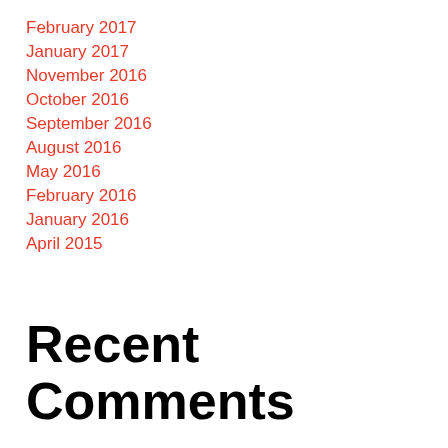February 2017
January 2017
November 2016
October 2016
September 2016
August 2016
May 2016
February 2016
January 2016
April 2015
Recent Comments